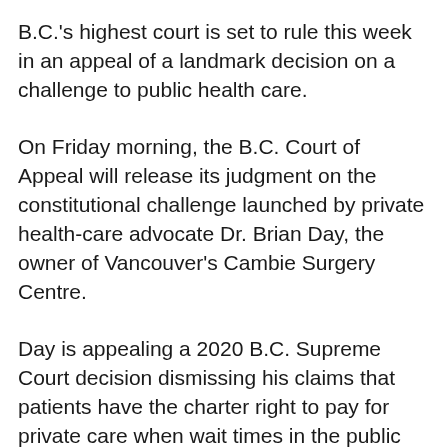B.C.'s highest court is set to rule this week in an appeal of a landmark decision on a challenge to public health care.
On Friday morning, the B.C. Court of Appeal will release its judgment on the constitutional challenge launched by private health-care advocate Dr. Brian Day, the owner of Vancouver's Cambie Surgery Centre.
Day is appealing a 2020 B.C. Supreme Court decision dismissing his claims that patients have the charter right to pay for private care when wait times in the public system are too long.
Justice John J. Steeves found that while some patients